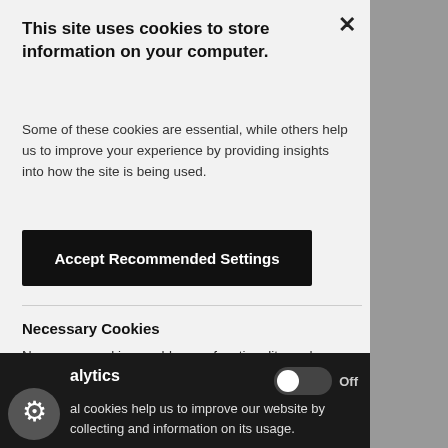This site uses cookies to store information on your computer.
Some of these cookies are essential, while others help us to improve your experience by providing insights into how the site is being used.
Accept Recommended Settings
Necessary Cookies
Necessary cookies enable core functionality such as page navigation and access to secure areas. The website cannot function properly without these cookies, and can only be disabled by changing your browser preferences.
Analytics
al cookies help us to improve our website by collecting and information on its usage.